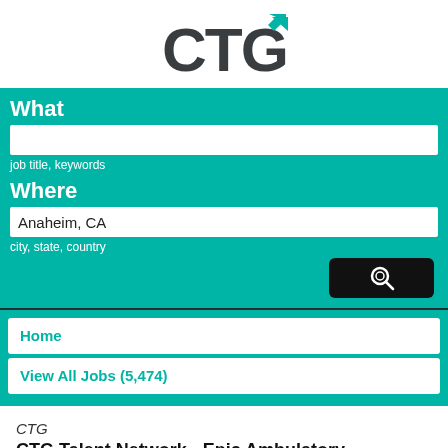[Figure (logo): CTG logo with teal arrow accent on top-right of G letter]
What
job title, keywords
Where
Anaheim, CA
city, state, country
Home
View All Jobs (5,474)
CTG
CTG Talent Network - Epic Ambulatory